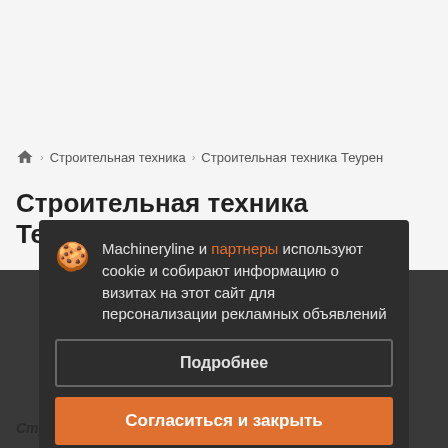Строительная техника > Строительная техника Теурен
Строительная техника Теурен из Польши
Machineryline и партнеры используют cookie и собирают информацию о визитах на этот сайт для персонализации рекламных объявлений
Подробнее
Согласиться и закрыть
Строительная техника Теурен из Польши: